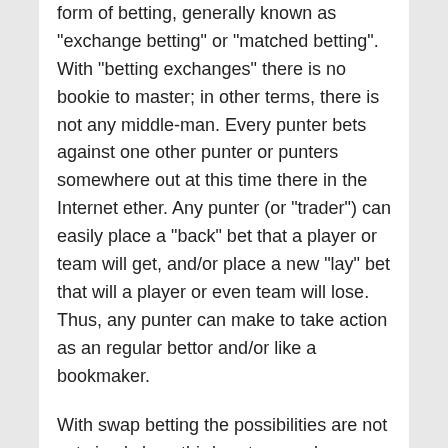form of betting, generally known as "exchange betting" or "matched betting". With "betting exchanges" there is no bookie to master; in other terms, there is not any middle-man. Every punter bets against one other punter or punters somewhere out at this time there in the Internet ether. Any punter (or "trader") can easily place a "back" bet that a player or team will get, and/or place a new "lay" bet that will a player or even team will lose. Thus, any punter can make to take action as an regular bettor and/or like a bookmaker.
With swap betting the possibilities are not set simply by a third-party or perhaps middle-man; these are set by the punters themselves, who location requests for chances at which that they...